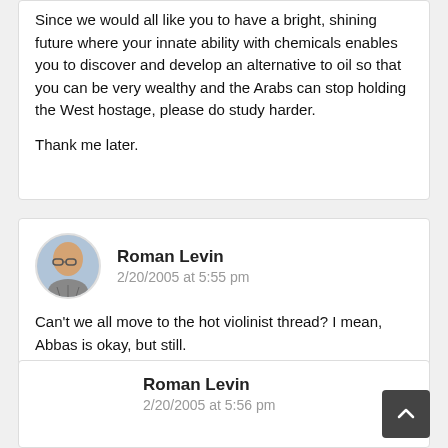Since we would all like you to have a bright, shining future where your innate ability with chemicals enables you to discover and develop an alternative to oil so that you can be very wealthy and the Arabs can stop holding the West hostage, please do study harder.

Thank me later.
Roman Levin
2/20/2005 at 5:55 pm
Can't we all move to the hot violinist thread? I mean, Abbas is okay, but still.
Roman Levin
2/20/2005 at 5:56 pm